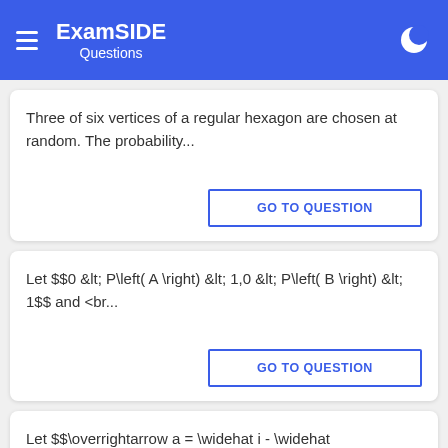ExamSIDE Questions
Three of six vertices of a regular hexagon are chosen at random. The probability...
GO TO QUESTION
Let $$0 &lt; P\left( A \right) &lt; 1,0 &lt; P\left( B \right) &lt; 1$$ and <br...
GO TO QUESTION
Let $$\overrightarrow a = \widehat i - \widehat j,\overrightarrow b = \widehat...